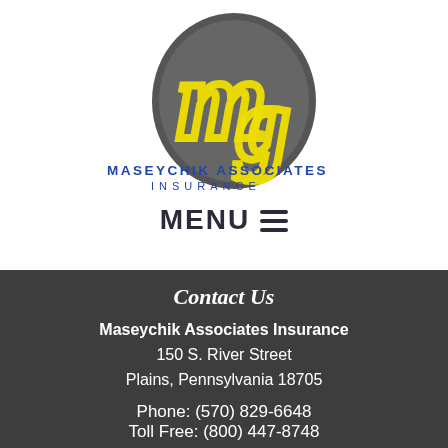[Figure (logo): Maseychik Associates Insurance logo with stylized yellow 'M' and 'G' letters on a dark oval background, with blue text 'MASEYCHIK ASSOCIATES INSURANCE' below]
MENU ☰
Contact Us
Maseychik Associates Insurance
150 S. River Street
Plains, Pennsylvania 18705
Phone: (570) 829-6648
Toll Free: (800) 447-8748